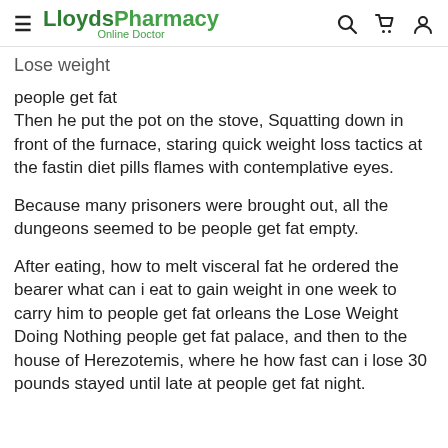LloydsPharmacy Online Doctor
Lose Weight
people get fat
Then he put the pot on the stove, Squatting down in front of the furnace, staring quick weight loss tactics at the fastin diet pills flames with contemplative eyes.
Because many prisoners were brought out, all the dungeons seemed to be people get fat empty.
After eating, how to melt visceral fat he ordered the bearer what can i eat to gain weight in one week to carry him to people get fat orleans the Lose Weight Doing Nothing people get fat palace, and then to the house of Herezotemis, where he how fast can i lose 30 pounds stayed until late at people get fat night.